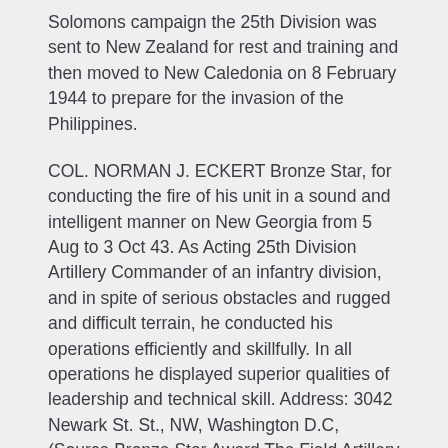Solomons campaign the 25th Division was sent to New Zealand for rest and training and then moved to New Caledonia on 8 February 1944 to prepare for the invasion of the Philippines.
COL. NORMAN J. ECKERT Bronze Star, for conducting the fire of his unit in a sound and intelligent manner on New Georgia from 5 Aug to 3 Oct 43. As Acting 25th Division Artillery Commander of an infantry division, and in spite of serious obstacles and rugged and difficult terrain, he conducted his operations efficiently and skillfully. In all operations he displayed superior qualities of leadership and technical skill. Address: 3042 Newark St. St., NW, Washington D.C, (Source Bronze Star Award The Field Artillery Journal DECEMBER, 1944—Vol. 34, No. 12 page 865)